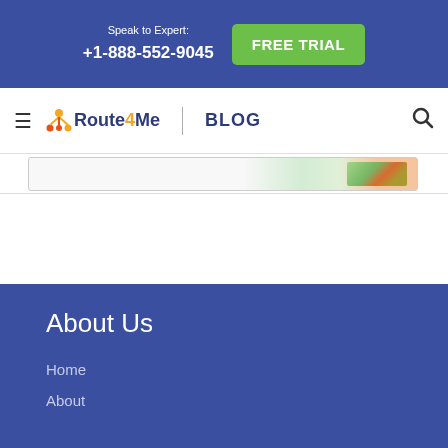Speak to Expert: +1-888-552-9045  FREE TRIAL
[Figure (logo): Route4Me Blog logo with navigation bar showing hamburger menu, Route4Me logo, BLOG text, and search icon]
[Figure (photo): Partial card with map and route image visible at top]
About Us
Home
About